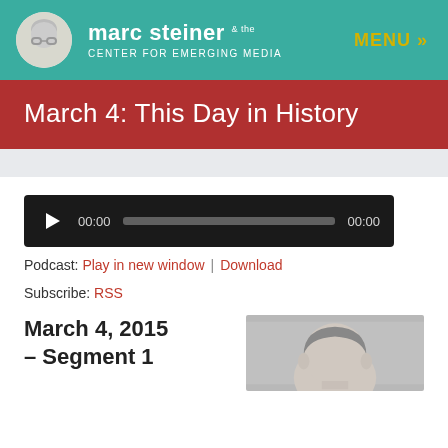marc steiner & the CENTER FOR EMERGING MEDIA — MENU »
March 4: This Day in History
[Figure (other): Audio player with play button, 00:00 time start, progress bar, 00:00 time end on dark background]
Podcast: Play in new window | Download
Subscribe: RSS
March 4, 2015 – Segment 1
[Figure (photo): Black and white portrait photo of a young man]